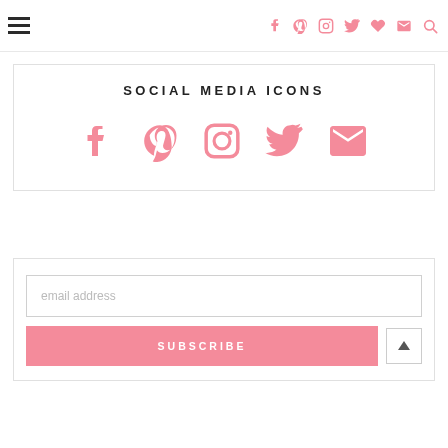Navigation header with hamburger menu and social media icons
SOCIAL MEDIA ICONS
[Figure (illustration): Row of 5 pink social media icons: Facebook, Pinterest, Instagram, Twitter, Email/envelope]
email address
SUBSCRIBE